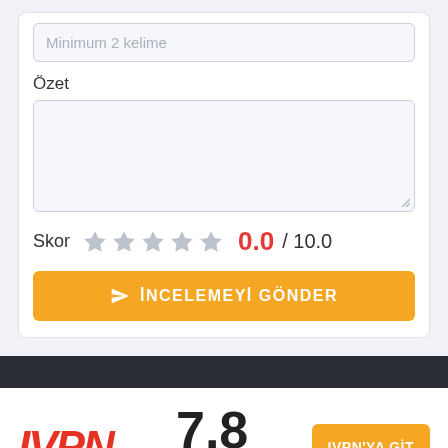Minimum 2 kelime
Özet
Skor  0.0 / 10.0
İNCELEMEYİ GÖNDER
[Figure (logo): IVPN logo in red italic bold text]
7.8
IVPN'YA GİT